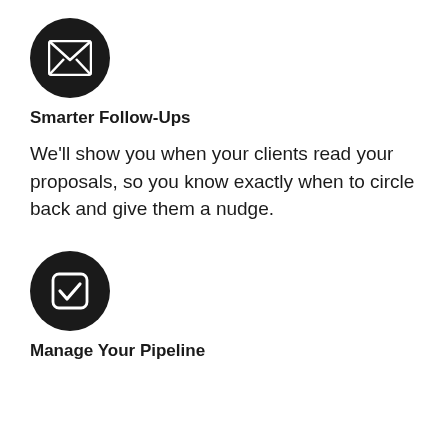[Figure (illustration): Dark circular icon with a white open envelope/letter symbol]
Smarter Follow-Ups
We’ll show you when your clients read your proposals, so you know exactly when to circle back and give them a nudge.
[Figure (illustration): Dark circular icon with a white rounded square checkmark symbol]
Manage Your Pipeline